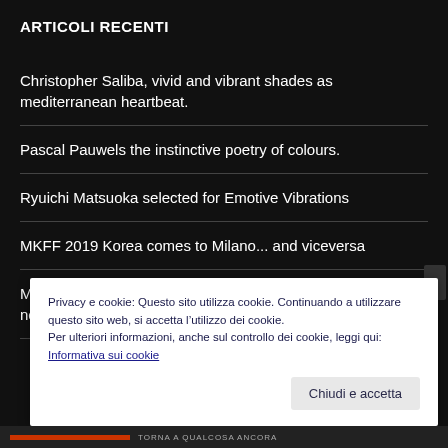ARTICOLI RECENTI
Christopher Saliba, vivid and vibrant shades as mediterranean heartbeat.
Pascal Pauwels the instinctive poetry of colours.
Ryuichi Matsuoka selected for Emotive Vibrations
MKFF 2019 Korea comes to Milano... and viceversa
Milan, the merging point of arts, culture, innovation and its new route to Osaka
Privacy e cookie: Questo sito utilizza cookie. Continuando a utilizzare questo sito web, si accetta l’utilizzo dei cookie.
Per ulteriori informazioni, anche sul controllo dei cookie, leggi qui:
Informativa sui cookie
Chiudi e accetta